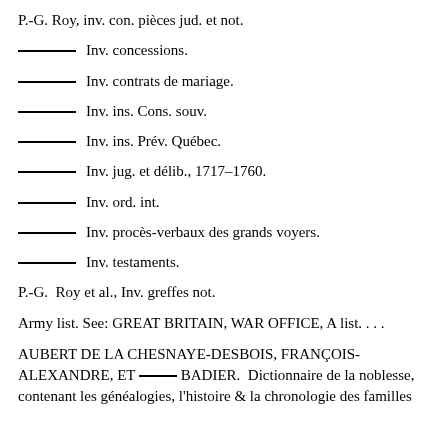P.-G. Roy, inv. con. pièces jud. et not.
——— Inv. concessions.
——— Inv. contrats de mariage.
——— Inv. ins. Cons. souv.
——— Inv. ins. Prév. Québec.
——— Inv. jug. et délib., 1717–1760.
——— Inv. ord. int.
——— Inv. procès-verbaux des grands voyers.
——— Inv. testaments.
P.-G. Roy et al., Inv. greffes not.
Army list. See: GREAT BRITAIN, WAR OFFICE, A list. . . .
AUBERT DE LA CHESNAYE-DESBOIS, FRANÇOIS-ALEXANDRE, ET ——— BADIER. Dictionnaire de la noblesse, contenant les généalogies, l'histoire & la chronologie des familles